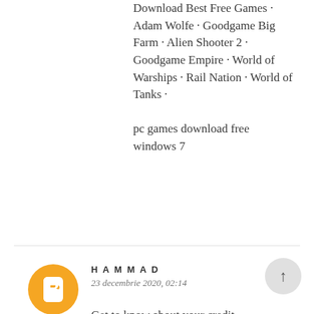Download Best Free Games · Adam Wolfe · Goodgame Big Farm · Alien Shooter 2 · Goodgame Empire · World of Warships · Rail Nation · World of Tanks ·
pc games download free windows 7
Răspundeți
[Figure (logo): Orange circle with white blogger 'B' icon avatar]
HAMMAD
23 decembrie 2020, 02:14
Get to know about your credit options